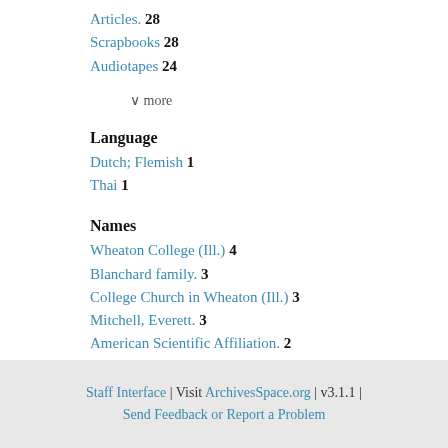Articles.  28
Scrapbooks  28
Audiotapes  24
∨ more
Language
Dutch; Flemish  1
Thai  1
Names
Wheaton College (Ill.)  4
Blanchard family.  3
College Church in Wheaton (Ill.)  3
Mitchell, Everett.  3
American Scientific Affiliation.  2
∨ more
Staff Interface | Visit ArchivesSpace.org | v3.1.1 | Send Feedback or Report a Problem